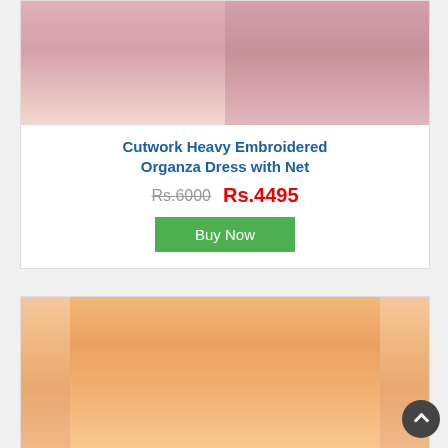[Figure (photo): Pink embroidered organza dress shown in two views side by side]
Cutwork Heavy Embroidered Organza Dress with Net
Rs.6000  Rs.4495
Buy Now
[Figure (photo): Peach/orange embroidered suit shown on model]